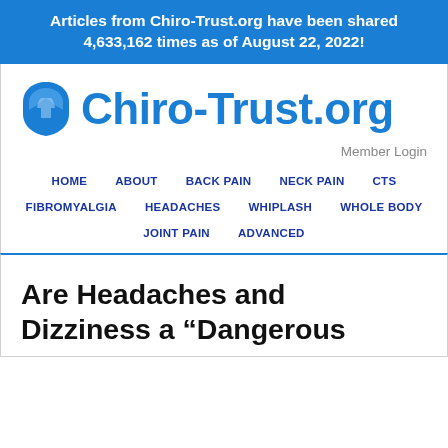Articles from Chiro-Trust.org have been shared 4,633,162 times as of August 22, 2022!
[Figure (logo): Chiro-Trust.org logo with blue shield icon and blue text]
Member Login
HOME   ABOUT   BACK PAIN   NECK PAIN   CTS   FIBROMYALGIA   HEADACHES   WHIPLASH   WHOLE BODY   JOINT PAIN   ADVANCED
Are Headaches and Dizziness a “Dangerous